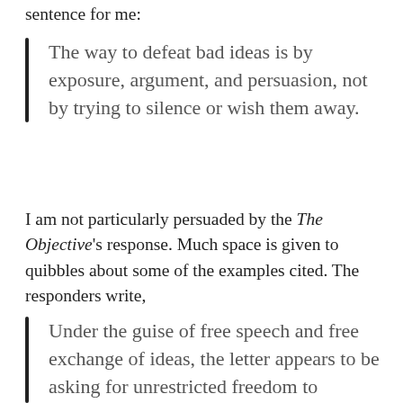sentence for me:
The way to defeat bad ideas is by exposure, argument, and persuasion, not by trying to silence or wish them away.
I am not particularly persuaded by the The Objective's response. Much space is given to quibbles about some of the examples cited. The responders write,
Under the guise of free speech and free exchange of ideas, the letter appears to be asking for unrestricted freedom to espouse their points of view free from…